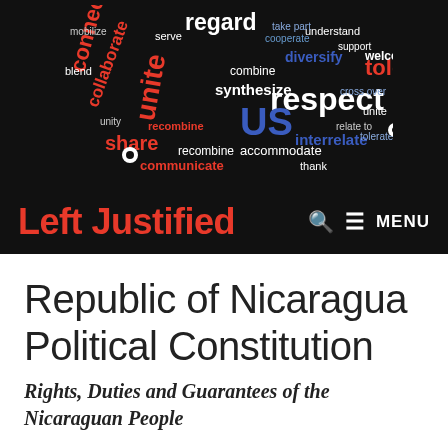[Figure (illustration): Word cloud illustration showing hands shaking or interlocking, made up of words related to unity and cooperation such as: connect, collaborate, unite, share, respect, diversify, tolerate, welcome, recombine, synthesize, interrelate, communicate, mobilize, serve, regard, combine, cross over, take part, accommodate, thank, etc. Words appear in red, white, and blue on a dark/black background. The large blue word 'US' is prominent in the center-lower area.]
Left Justified
Republic of Nicaragua Political Constitution
Rights, Duties and Guarantees of the Nicaraguan People
CHAPTER I